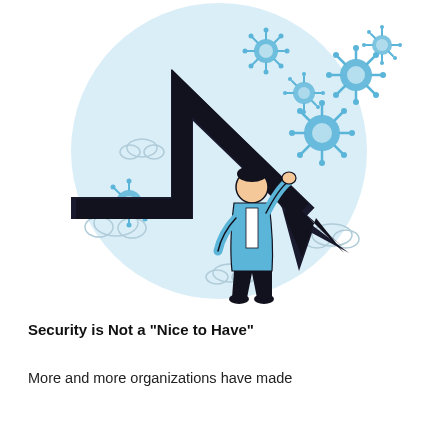[Figure (illustration): Illustration of a businessperson in a blue jacket hanging from a large downward-pointing arrow (like a declining chart), surrounded by floating coronavirus particles and cloud outlines, set against a light blue circular background.]
Security is Not a "Nice to Have"
More and more organizations have made